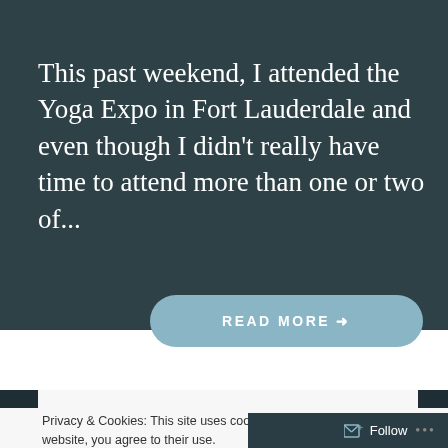This past weekend, I attended the Yoga Expo in Fort Lauderdale and even though I didn't really have time to attend more than one or two of...
[Figure (other): A rounded rectangular button with muted blue background reading 'READ MORE →' in white uppercase letters with letter-spacing]
Privacy & Cookies: This site uses cookies. By continuing to use this website, you agree to their use.
To find out more, including how to control cookies, see here: Cookie Policy
Close and accept
Follow